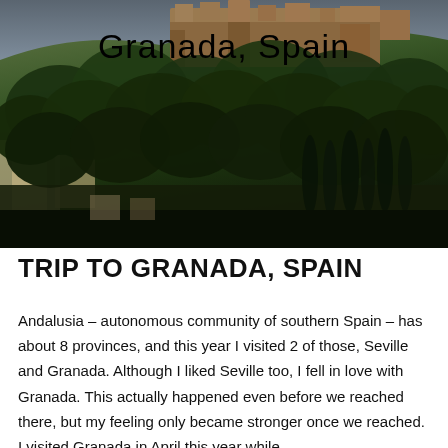[Figure (photo): Aerial/elevated view of Granada, Spain showing the Alhambra fortress on a densely forested hillside with lush green trees and historic buildings. Text 'Granada, Spain' overlaid at top center.]
TRIP TO GRANADA, SPAIN
Andalusia – autonomous community of southern Spain – has about 8 provinces, and this year I visited 2 of those, Seville and Granada. Although I liked Seville too, I fell in love with Granada. This actually happened even before we reached there, but my feeling only became stronger once we reached. I visited Granada in April this year while